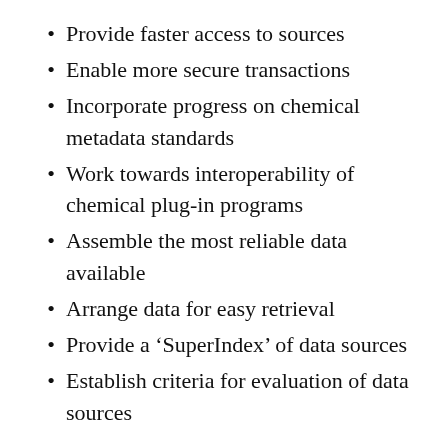Provide faster access to sources
Enable more secure transactions
Incorporate progress on chemical metadata standards
Work towards interoperability of chemical plug-in programs
Assemble the most reliable data available
Arrange data for easy retrieval
Provide a ‘SuperIndex’ of data sources
Establish criteria for evaluation of data sources
At a minimum, compilers ought to provide descriptions of physical theories on which data are based, full references to literature, and descriptions of the format of the database and